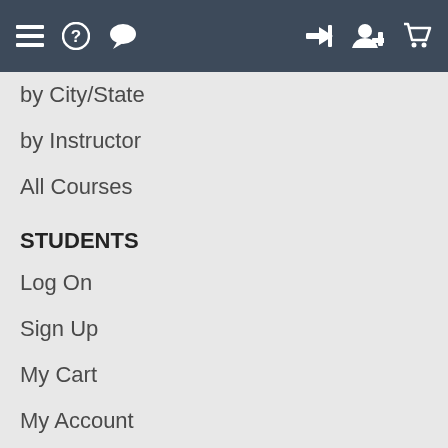[Navigation bar with hamburger menu, help, chat, login, add user, and cart icons]
by City/State
by Instructor
All Courses
STUDENTS
Log On
Sign Up
My Cart
My Account
My History
INSTRUCTORS
Access Rosters
Teach for us?